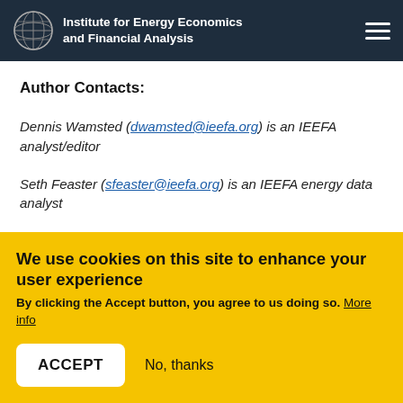Institute for Energy Economics and Financial Analysis
Author Contacts:
Dennis Wamsted (dwamsted@ieefa.org) is an IEEFA analyst/editor
Seth Feaster (sfeaster@ieefa.org) is an IEEFA energy data analyst
We use cookies on this site to enhance your user experience
By clicking the Accept button, you agree to us doing so. More info